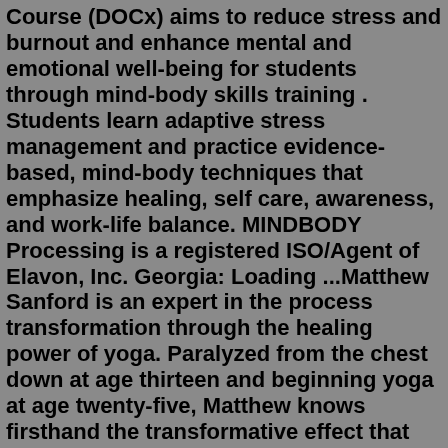Course (DOCx) aims to reduce stress and burnout and enhance mental and emotional well-being for students through mind-body skills training . Students learn adaptive stress management and practice evidence-based, mind-body techniques that emphasize healing, self care, awareness, and work-life balance. MINDBODY Processing is a registered ISO/Agent of Elavon, Inc. Georgia: Loading ...Matthew Sanford is an expert in the process transformation through the healing power of yoga. Paralyzed from the chest down at age thirteen and beginning yoga at age twenty-five, Matthew knows firsthand the transformative effect that yoga can have on the mind-body relationship. He is an internationally recognized yoga teacher, a sought-after ...Edited by Torin Alter and Robert J. Howell. Ideal for courses in consciousness and the philosophy of mind, Consciousness and the Mind-Body Problem: A Reader presents thirty-six classic and contemporary readings, organized into five sections that cover the major issues in this debate: the challenge for physicalism, physicalist responses